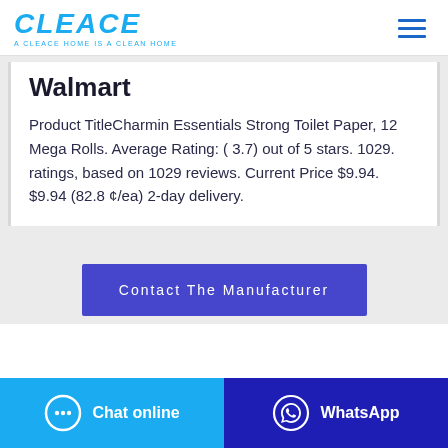CLEACE — A CLEACE HOME IS A CLEAN HOME
Walmart
Product TitleCharmin Essentials Strong Toilet Paper, 12 Mega Rolls. Average Rating: ( 3.7) out of 5 stars. 1029. ratings, based on 1029 reviews. Current Price $9.94. $9.94 (82.8 ¢/ea) 2-day delivery.
Contact The Manufacturer
Chat online
WhatsApp